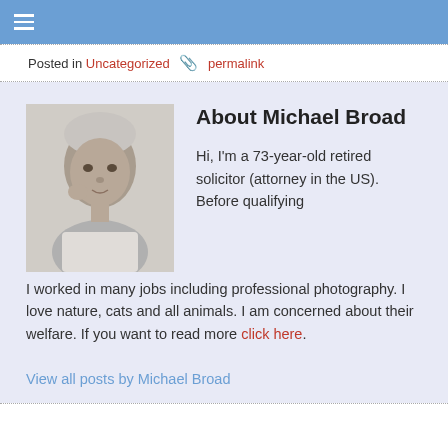☰
Posted in Uncategorized 🖇 permalink
About Michael Broad
[Figure (photo): Black and white photo of Michael Broad, an elderly man]
Hi, I'm a 73-year-old retired solicitor (attorney in the US). Before qualifying I worked in many jobs including professional photography. I love nature, cats and all animals. I am concerned about their welfare. If you want to read more click here.
View all posts by Michael Broad